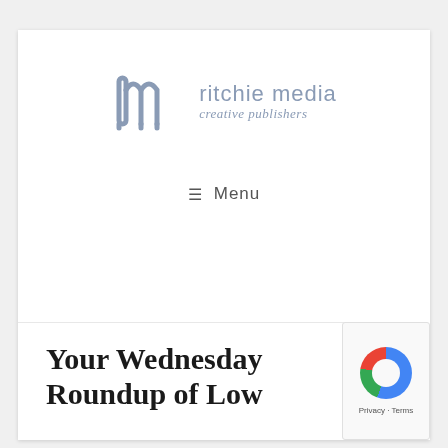[Figure (logo): Ritchie Media creative publishers logo — stylized 'rm' monogram in steel blue with company name text]
≡  Menu
Your Wednesday Roundup of Low